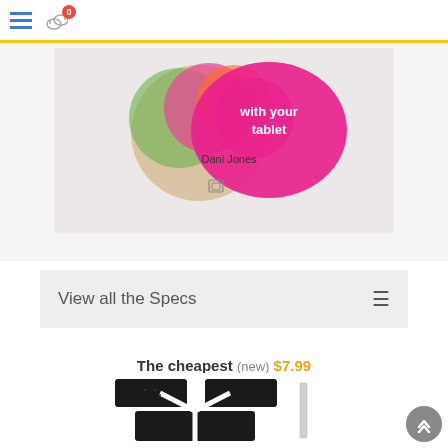Navigation header with hamburger menu and compare icon (badge: 0)
[Figure (screenshot): Partial product page screenshot showing a book/tablet cover with colorful design and text 'with your tablet' and 'Dani Jones']
View all the Specs
The cheapest (new) $7.99
[Figure (photo): Product photo showing black textured grip pads/stickers arranged in a pattern on a white background]